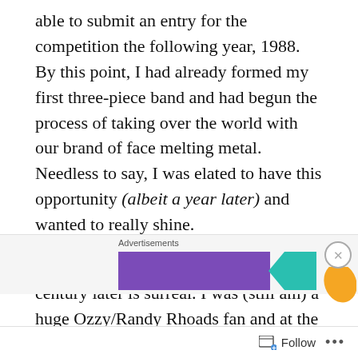able to submit an entry for the competition the following year, 1988. By this point, I had already formed my first three-piece band and had begun the process of taking over the world with our brand of face melting metal. Needless to say, I was elated to have this opportunity (albeit a year later) and wanted to really shine.

Reading this journal entry now, a quarter century later is surreal. I was (still am) a huge Ozzy/Randy Rhoads fan and at the time must have played the song ‘Crazy Train’ a million
[Figure (other): Advertisement banner with purple, teal, and orange shapes, showing 'Advertisements' label and 'How to start selling' text]
Follow ...